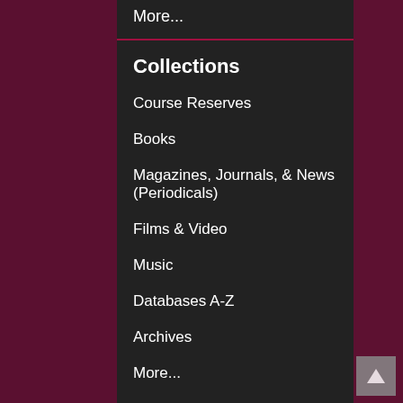More...
Collections
Course Reserves
Books
Magazines, Journals, & News (Periodicals)
Films & Video
Music
Databases A-Z
Archives
More...